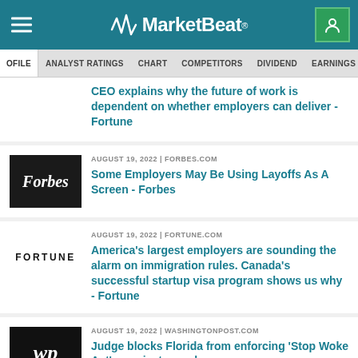MarketBeat
PROFILE  ANALYST RATINGS  CHART  COMPETITORS  DIVIDEND  EARNINGS
CEO explains why the future of work is dependent on whether employers can deliver - Fortune
AUGUST 19, 2022 | FORBES.COM
Some Employers May Be Using Layoffs As A Screen - Forbes
AUGUST 19, 2022 | FORTUNE.COM
America’s largest employers are sounding the alarm on immigration rules. Canada’s successful startup visa program shows us why - Fortune
AUGUST 19, 2022 | WASHINGTONPOST.COM
Judge blocks Florida from enforcing ‘Stop Woke Act’ on private employers -